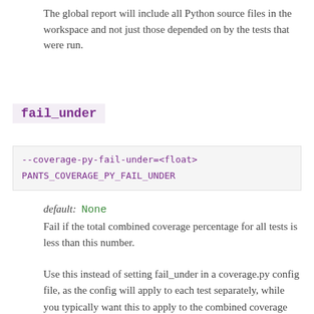The global report will include all Python source files in the workspace and not just those depended on by the tests that were run.
fail_under
--coverage-py-fail-under=<float>
PANTS_COVERAGE_PY_FAIL_UNDER
default:  None
Fail if the total combined coverage percentage for all tests is less than this number.
Use this instead of setting fail_under in a coverage.py config file, as the config will apply to each test separately, while you typically want this to apply to the combined coverage for all tests run.
Note that you must generate at least one (non-raw)